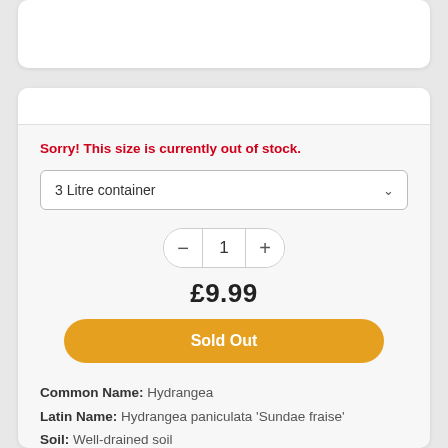Sorry! This size is currently out of stock.
3 Litre container
1
£9.99
Sold Out
Common Name: Hydrangea
Latin Name: Hydrangea paniculata 'Sundae fraise'
Soil: Well-drained soil